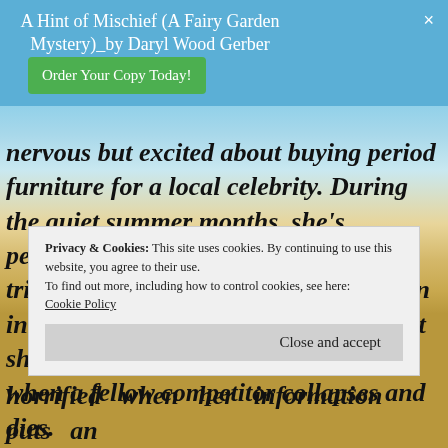A Hint of Mischief (A Fairy Garden Mystery)_by Daryl Wood Gerber  Order Your Copy Today!
nervous but excited about buying period furniture for a local celebrity. During the quiet summer months, she's persuaded to join her company's triathlon team for a charity competition in Britain's picturesque Cotswolds. But she realises all that glitters is not gold when a fellow competitor collapses and dies.
Privacy & Cookies: This site uses cookies. By continuing to use this website, you agree to their use.
To find out more, including how to control cookies, see here:
Cookie Policy
Close and accept
horrified when her information puts an